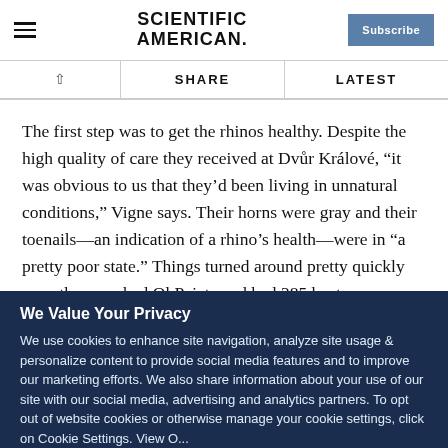Scientific American — Subscribe
SHARE | LATEST
The first step was to get the rhinos healthy. Despite the high quality of care they received at Dvůr Králové, "it was obvious to us that they'd been living in unnatural conditions," Vigne says. Their horns were gray and their toenails—an indication of a rhino's health—were in "a pretty poor state." Things turned around pretty quickly once they reached Ol Pejeta and had 285 hectares on which to roam (plus round-the-clock armed guards
We Value Your Privacy
We use cookies to enhance site navigation, analyze site usage & personalize content to provide social media features and to improve our marketing efforts. We also share information about your use of our site with our social media, advertising and analytics partners. To opt out of website cookies or otherwise manage your cookie settings, click on Cookie Settings. View O...